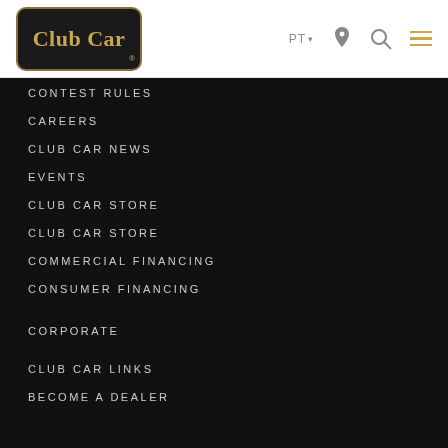[Figure (logo): Club Car logo in gold text on dark rounded rectangle with gold border]
PT | location icon | search icon | hamburger menu
CONTEST RULES
CAREERS
CLUB CAR NEWS
EVENTS
CLUB CAR STORE
CLUB CAR STORE
COMMERCIAL FINANCING
CONSUMER FINANCING
CORPORATE
CLUB CAR LINKS
BECOME A DEALER